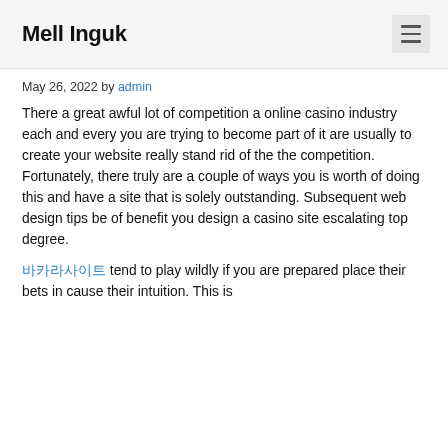Mell Inguk
May 26, 2022 by admin
There a great awful lot of competition a online casino industry each and every you are trying to become part of it are usually to create your website really stand rid of the the competition. Fortunately, there truly are a couple of ways you is worth of doing this and have a site that is solely outstanding. Subsequent web design tips be of benefit you design a casino site escalating top degree.
바카라사이트 tend to play wildly if you are prepared place their bets in to cause their intuition. This is...